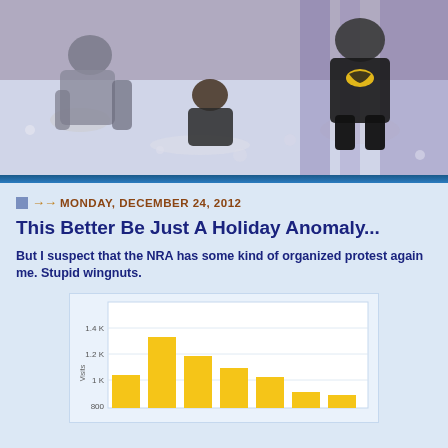[Figure (photo): Stylized photo of costumed cat figurines fighting in a snowy scene — cats in superhero/wrestler outfits mid-action on a purple and white background]
MONDAY, DECEMBER 24, 2012
This Better Be Just A Holiday Anomaly...
But I suspect that the NRA has some kind of organized protest against me. Stupid wingnuts.
[Figure (bar-chart): Visits over time]